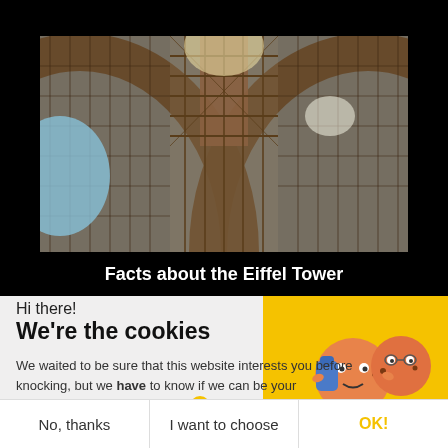☰ Menu
[Figure (photo): Looking up at the intricate iron lattice structure of the Eiffel Tower from below, with blue sky visible through the metalwork.]
Facts about the Eiffel Tower
Hi there!
We're the cookies
We waited to be sure that this website interests you before knocking, but we have to know if we can be your companions during your visit.
[Figure (illustration): Two cartoon cookie characters with faces, one wearing a blue backpack, displayed against a yellow background blob.]
axeptio
No, thanks
I want to choose
OK!